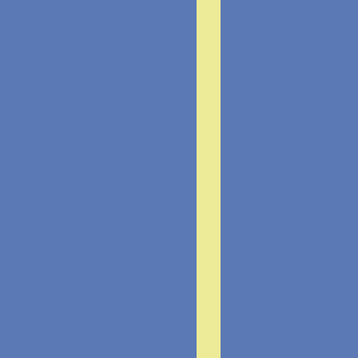cake and eat it to.
UPDATE: I've been cogitating on this one all night and I'm still not sure how I feel. Personally, I